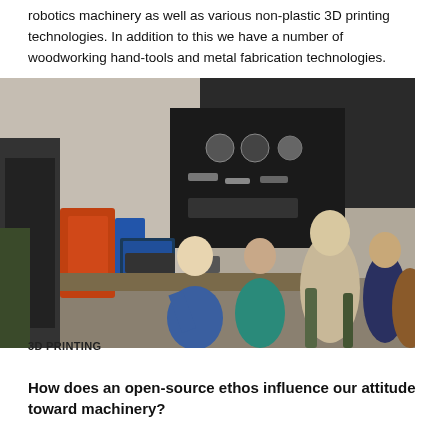robotics machinery as well as various non-plastic 3D printing technologies. In addition to this we have a number of woodworking hand-tools and metal fabrication technologies.
[Figure (photo): A group of people in a workshop/makerspace looking at 3D printers and fabrication equipment. One person in a blue sweater leans over a machine while others observe. Tools and equipment visible on wall-mounted panels in the background.]
3D PRINTING
Our website uses cookies to improve your experience. Read More
How does an open-source ethos influence our attitude toward machinery?